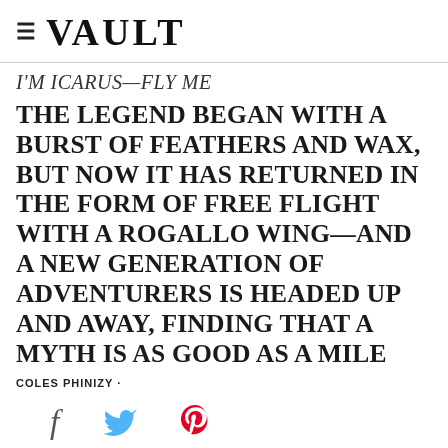≡ VAULT
I'M ICARUS—FLY ME
THE LEGEND BEGAN WITH A BURST OF FEATHERS AND WAX, BUT NOW IT HAS RETURNED IN THE FORM OF FREE FLIGHT WITH A ROGALLO WING—AND A NEW GENERATION OF ADVENTURERS IS HEADED UP AND AWAY, FINDING THAT A MYTH IS AS GOOD AS A MILE
COLES PHINIZY ·
[Figure (infographic): Social media sharing icons: Facebook (f), Twitter (bird), Pinterest (P)]
[Figure (photo): Sports Illustrated magazine cover showing a partial view with the Sports Illustrated logo in yellow/green text on dark background]